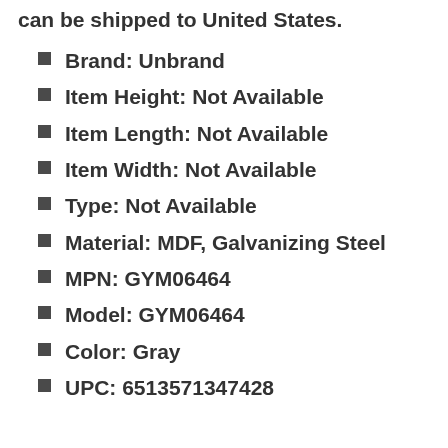can be shipped to United States.
Brand: Unbrand
Item Height: Not Available
Item Length: Not Available
Item Width: Not Available
Type: Not Available
Material: MDF, Galvanizing Steel
MPN: GYM06464
Model: GYM06464
Color: Gray
UPC: 6513571347428